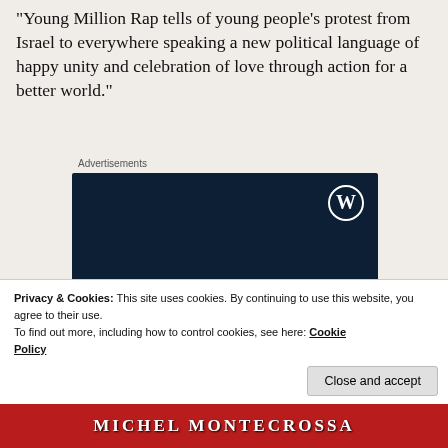"Young Million Rap tells of young people's protest from Israel to everywhere speaking a new political language of happy unity and celebration of love through action for a better world."
[Figure (other): WordPress.com advertisement banner with dark navy background showing WordPress logo (W in circle) in top right, and text 'Opinions. We all have them!' in white serif font]
Privacy & Cookies: This site uses cookies. By continuing to use this website, you agree to their use. To find out more, including how to control cookies, see here: Cookie Policy
[Figure (photo): Bottom strip showing partial image of Michel Montecrossa text/logo in red and white]